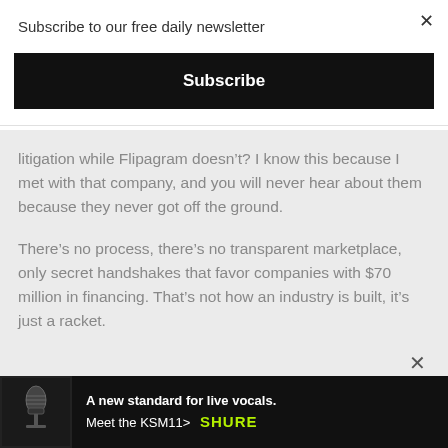Subscribe to our free daily newsletter
Subscribe
litigation while Flipagram doesn’t? I know this because I met with that company, and you will never hear about them because they never got off the ground.
There’s no process, there’s no transparent marketplace, only secret handshakes that favor companies with $70 million in financing. That’s not how an industry is built, it’s just a racket.
[Figure (photo): Advertisement banner for Shure KSM11 microphone with dark background, microphone image on left, text 'A new standard for live vocals. Meet the KSM11>' and Shure logo in green on right]